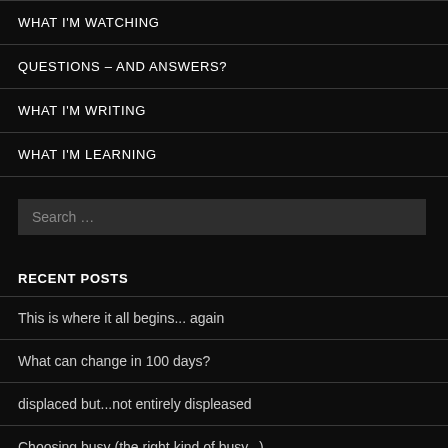WHAT I'M WATCHING
QUESTIONS – AND ANSWERS?
WHAT I'M WRITING
WHAT I'M LEARNING
Search …
RECENT POSTS
This is where it all begins… again
What can change in 100 days?
displaced but…not entirely displeased
Choosing busy (the right kind of busy…)